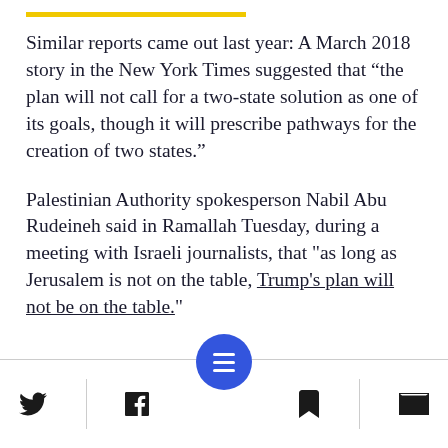Similar reports came out last year: A March 2018 story in the New York Times suggested that “the plan will not call for a two-state solution as one of its goals, though it will prescribe pathways for the creation of two states.”
Palestinian Authority spokesperson Nabil Abu Rudeineh said in Ramallah Tuesday, during a meeting with Israeli journalists, that "as long as Jerusalem is not on the table, Trump's plan will not be on the table."
Social sharing toolbar with Twitter, Facebook, menu, bookmark, and email icons